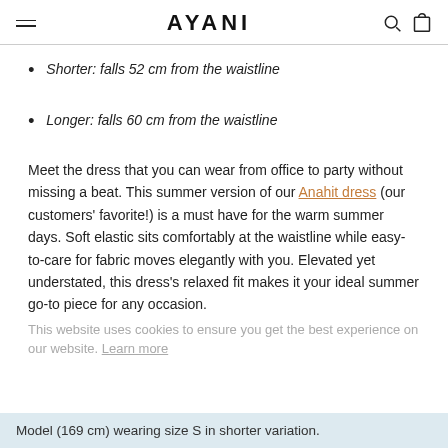AYANI
Shorter: falls 52 cm from the waistline
Longer: falls 60 cm from the waistline
Meet the dress that you can wear from office to party without missing a beat. This summer version of our Anahit dress (our customers' favorite!) is a must have for the warm summer days. Soft elastic sits comfortably at the waistline while easy-to-care for fabric moves elegantly with you. Elevated yet understated, this dress's relaxed fit makes it your ideal summer go-to piece for any occasion.
This website uses cookies to ensure you get the best experience on our website. Learn more
Model (169 cm) wearing size S in shorter variation.